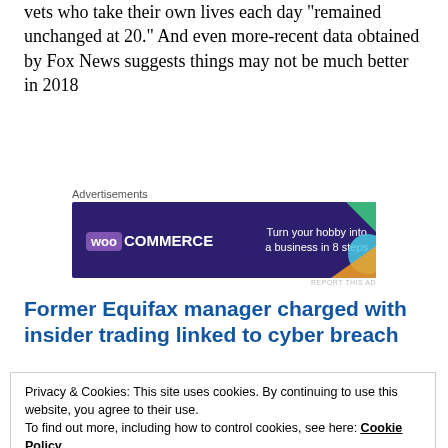vets who take their own lives each day "remained unchanged at 20." And even more-recent data obtained by Fox News suggests things may not be much better in 2018
[Figure (other): WooCommerce advertisement banner: 'Turn your hobby into a business in 8 steps' on dark purple background with colorful geometric shapes]
Former Equifax manager charged with insider trading linked to cyber breach
The Department of Justice and Securities and
Privacy & Cookies: This site uses cookies. By continuing to use this website, you agree to their use.
To find out more, including how to control cookies, see here: Cookie Policy
Close and accept